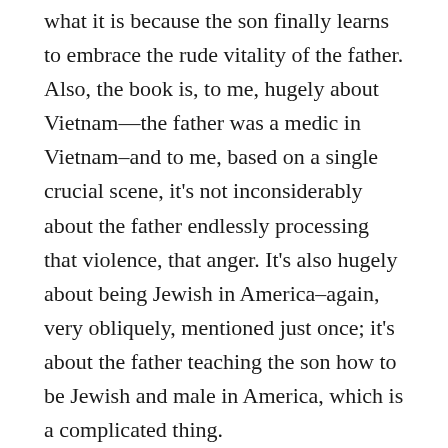what it is because the son finally learns to embrace the rude vitality of the father. Also, the book is, to me, hugely about Vietnam—the father was a medic in Vietnam–and to me, based on a single crucial scene, it's not inconsiderably about the father endlessly processing that violence, that anger. It's also hugely about being Jewish in America–again, very obliquely, mentioned just once; it's about the father teaching the son how to be Jewish and male in America, which is a complicated thing.